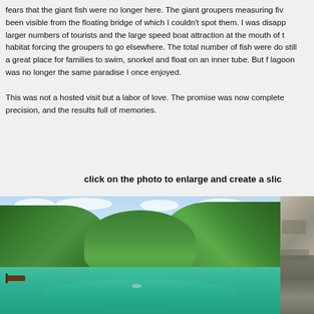fears that the giant fish were no longer here. The giant groupers measuring fiv been visible from the floating bridge of which I couldn't spot them. I was disapp larger numbers of tourists and the large speed boat attraction at the mouth of t habitat forcing the groupers to go elsewhere. The total number of fish were do still a great place for families to swim, snorkel and float on an inner tube. But f lagoon was no longer the same paradise I once enjoyed.
This was not a hosted visit but a labor of love. The promise was now complete precision, and the results full of memories.
click on the photo to enlarge and create a slic
[Figure (photo): A tropical lagoon with lush green mangrove trees lining both banks, calm turquoise water, and a partly cloudy sky. A small dock is visible on the lower left and small figures are in the water.]
[Figure (photo): Partial view of what appears to be a rocky or stone surface, partially cut off on the right side of the page.]